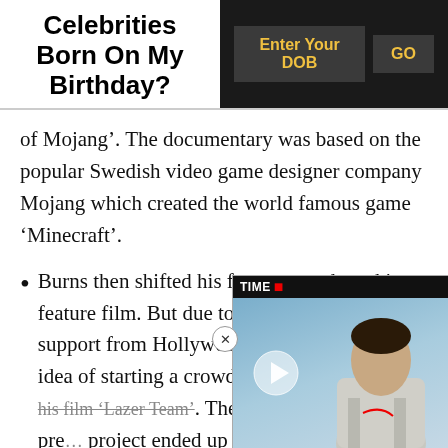Celebrities Born On My Birthday?
of Mojang’. The documentary was based on the popular Swedish video game designer company Mojang which created the world famous game ‘Minecraft’.
Burns then shifted his focus towards making a feature film. But due to the lack of financial support from Hollywood, he came up with an idea of starting a crowd funding campaign for his film ‘Lazer Team’. The campaign broke all pre… project ended up collecting… dollars within the first few d…